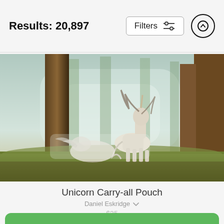Results: 20,897
[Figure (photo): Fantasy illustration of white unicorns in a misty forest with tall trees and green/golden grass]
Unicorn Carry-all Pouch
Daniel Eskridge
$25 (strikethrough) $20